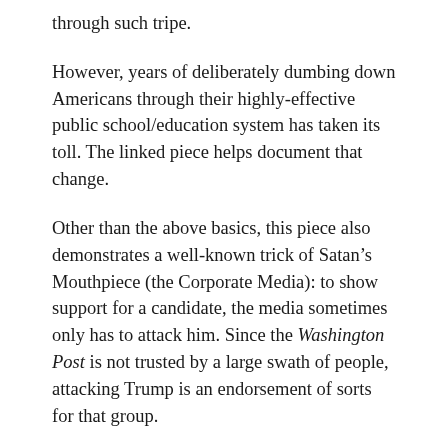through such tripe.
However, years of deliberately dumbing down Americans through their highly-effective public school/education system has taken its toll. The linked piece helps document that change.
Other than the above basics, this piece also demonstrates a well-known trick of Satan’s Mouthpiece (the Corporate Media): to show support for a candidate, the media sometimes only has to attack him. Since the Washington Post is not trusted by a large swath of people, attacking Trump is an endorsement of sorts for that group.